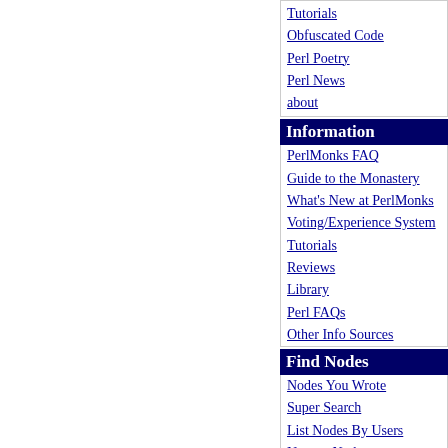Tutorials
Obfuscated Code
Perl Poetry
Perl News
about
Information
PerlMonks FAQ
Guide to the Monastery
What's New at PerlMonks
Voting/Experience System
Tutorials
Reviews
Library
Perl FAQs
Other Info Sources
Find Nodes
Nodes You Wrote
Super Search
List Nodes By Users
Newest Nodes
Recently Active Threads
Selected Best Nodes
Best Nodes
Worst Nodes
Saints in our Book
Leftovers
The St. Larry Wall Shrine
Buy PerlMonks Gear